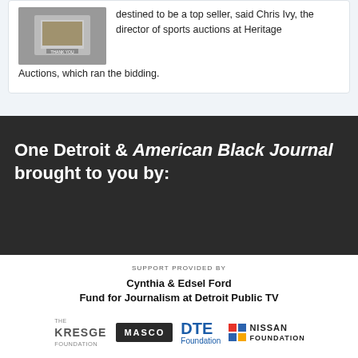destined to be a top seller, said Chris Ivy, the director of sports auctions at Heritage Auctions, which ran the bidding.
One Detroit & American Black Journal brought to you by:
SUPPORT PROVIDED BY
Cynthia & Edsel Ford Fund for Journalism at Detroit Public TV
[Figure (logo): The Kresge Foundation logo]
[Figure (logo): Masco logo]
[Figure (logo): DTE Foundation logo]
[Figure (logo): Nissan Foundation logo]
Viewers Like You Thank You